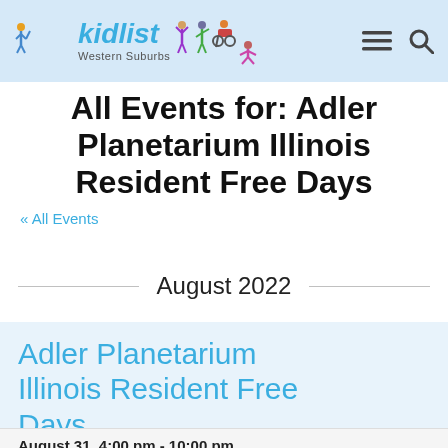kidlist Western Suburbs
All Events for: Adler Planetarium Illinois Resident Free Days
« All Events
August 2022
Adler Planetarium Illinois Resident Free Days
August 31, 4:00 pm - 10:00 pm